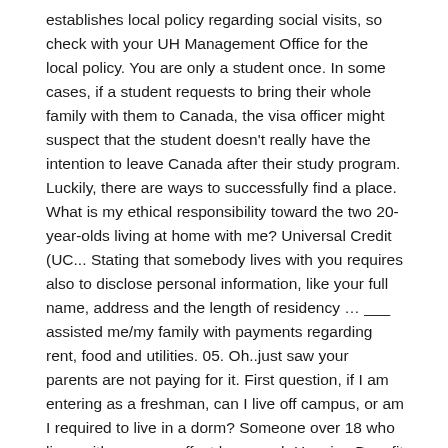establishes local policy regarding social visits, so check with your UH Management Office for the local policy. You are only a student once. In some cases, if a student requests to bring their whole family with them to Canada, the visa officer might suspect that the student doesn't really have the intention to leave Canada after their study program. Luckily, there are ways to successfully find a place. What is my ethical responsibility toward the two 20-year-olds living at home with me? Universal Credit (UC... Stating that somebody lives with you requires also to disclose personal information, like your full name, address and the length of residency … ___ assisted me/my family with payments regarding rent, food and utilities. 05. Oh..just saw your parents are not paying for it. First question, if I am entering as a freshman, can I live off campus, or am I required to live in a dorm? Someone over 18 who lives with you may affect how much Housing Benefit and Council Tax Support you get